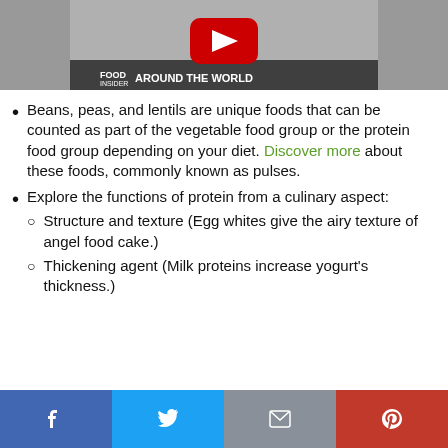[Figure (screenshot): YouTube video thumbnail showing food being processed, with text 'FOOD INSIDER AROUND THE WORLD' and a red YouTube play button]
Beans, peas, and lentils are unique foods that can be counted as part of the vegetable food group or the protein food group depending on your diet. Discover more about these foods, commonly known as pulses.
Explore the functions of protein from a culinary aspect: Structure and texture (Egg whites give the airy texture of angel food cake.) Thickening agent (Milk proteins increase yogurt's thickness.)
[Figure (infographic): Social media share bar with Facebook, Twitter, Email, and Pinterest buttons]